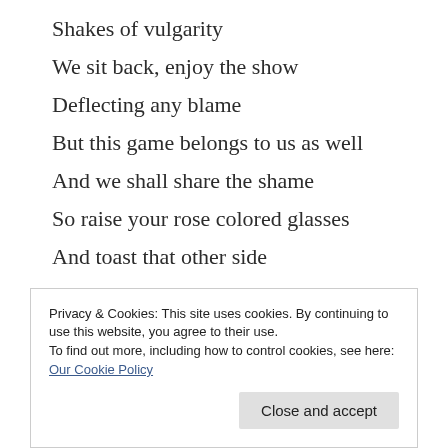Shakes of vulgarity
We sit back, enjoy the show
Deflecting any blame
But this game belongs to us as well
And we shall share the shame
So raise your rose colored glasses
And toast that other side
Drink up until the bloat
Puffs out a sense of pride
In honesty and bravery
Privacy & Cookies: This site uses cookies. By continuing to use this website, you agree to their use.
To find out more, including how to control cookies, see here: Our Cookie Policy
Close and accept